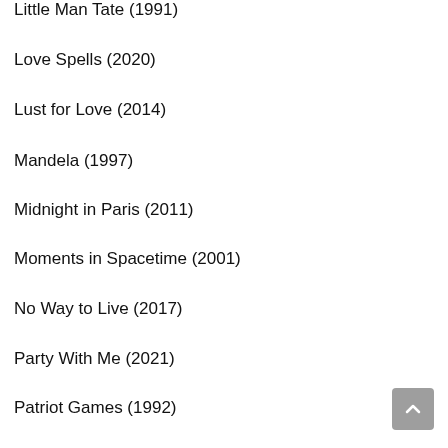Little Man Tate (1991)
Love Spells (2020)
Lust for Love (2014)
Mandela (1997)
Midnight in Paris (2011)
Moments in Spacetime (2001)
No Way to Live (2017)
Party With Me (2021)
Patriot Games (1992)